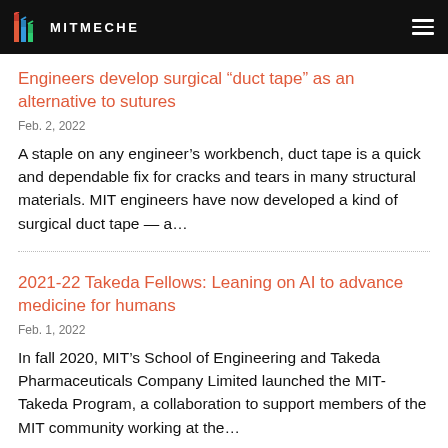MITMECHE
Engineers develop surgical “duct tape” as an alternative to sutures
Feb. 2, 2022
A staple on any engineer’s workbench, duct tape is a quick and dependable fix for cracks and tears in many structural materials. MIT engineers have now developed a kind of surgical duct tape — a…
2021-22 Takeda Fellows: Leaning on AI to advance medicine for humans
Feb. 1, 2022
In fall 2020, MIT’s School of Engineering and Takeda Pharmaceuticals Company Limited launched the MIT-Takeda Program, a collaboration to support members of the MIT community working at the…